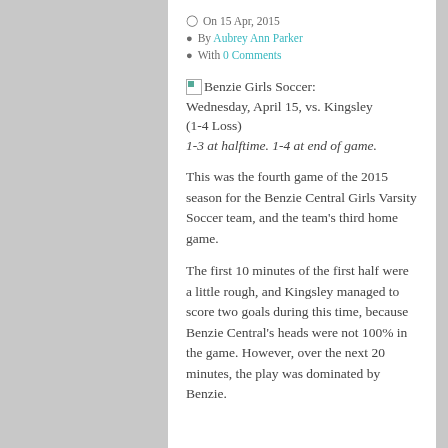On 15 Apr, 2015
By Aubrey Ann Parker
With 0 Comments
Benzie Girls Soccer: Wednesday, April 15, vs. Kingsley (1-4 Loss)
1-3 at halftime. 1-4 at end of game.
This was the fourth game of the 2015 season for the Benzie Central Girls Varsity Soccer team, and the team's third home game.
The first 10 minutes of the first half were a little rough, and Kingsley managed to score two goals during this time, because Benzie Central's heads were not 100% in the game. However, over the next 20 minutes, the play was dominated by Benzie.